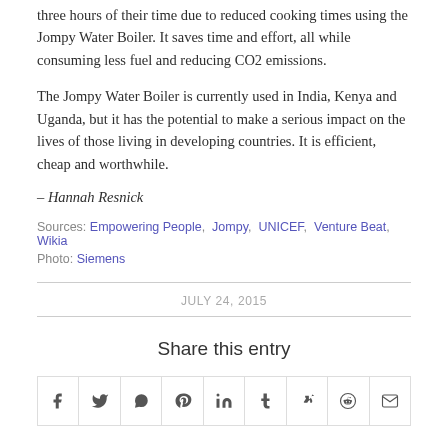three hours of their time due to reduced cooking times using the Jompy Water Boiler. It saves time and effort, all while consuming less fuel and reducing CO2 emissions.
The Jompy Water Boiler is currently used in India, Kenya and Uganda, but it has the potential to make a serious impact on the lives of those living in developing countries. It is efficient, cheap and worthwhile.
– Hannah Resnick
Sources: Empowering People, Jompy, UNICEF, Venture Beat, Wikia
Photo: Siemens
JULY 24, 2015
Share this entry